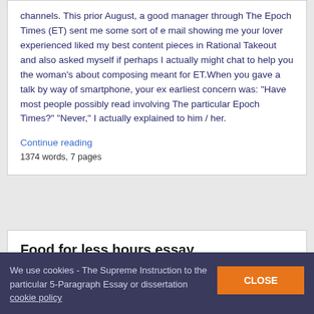channels. This prior August, a good manager through The Epoch Times (ET) sent me some sort of e mail showing me your lover experienced liked my best content pieces in Rational Takeout and also asked myself if perhaps I actually might chat to help you the woman's about composing meant for ET.When you gave a talk by way of smartphone, your ex earliest concern was: "Have most people possibly read involving The particular Epoch Times?" "Never," I actually explained to him / her.
Continue reading
1374 words, 7 pages
Food for less hours essay
Aug 30, 2019 · Through my best a long time as a new
We use cookies - The Supreme Instruction to the particular 5-Paragraph Essay or dissertation cookie policy